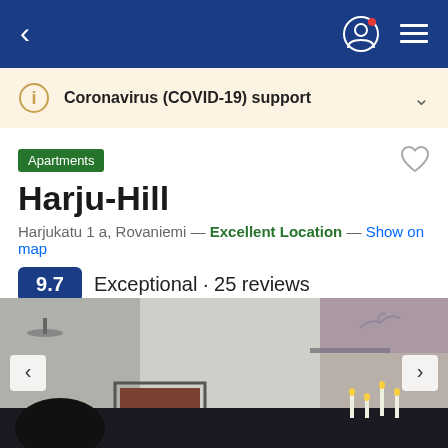< [user icon] [menu icon]
Coronavirus (COVID-19) support
Apartments
Harju-Hill
Harjukatu 1 a, Rovaniemi — Excellent Location — Show on map
9.7 Exceptional · 25 reviews
[Figure (photo): Interior photo of Harju-Hill apartment showing a living room with a fireplace, candles, black leather furniture, and modern white walls with ambient lighting.]